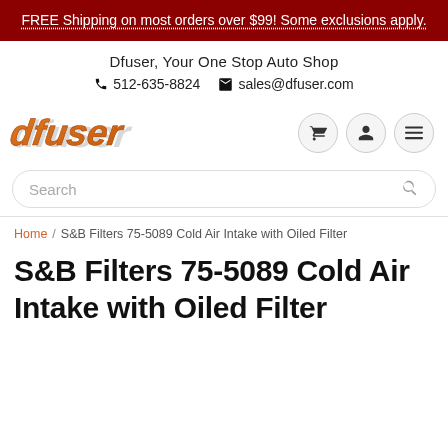FREE Shipping on most orders over $99! Some exclusions apply.
Dfuser, Your One Stop Auto Shop
512-635-8824  sales@dfuser.com
[Figure (logo): Dfuser logo — stylized orange italic lettering with shadow]
Search
Home / S&B Filters 75-5089 Cold Air Intake with Oiled Filter
S&B Filters 75-5089 Cold Air Intake with Oiled Filter